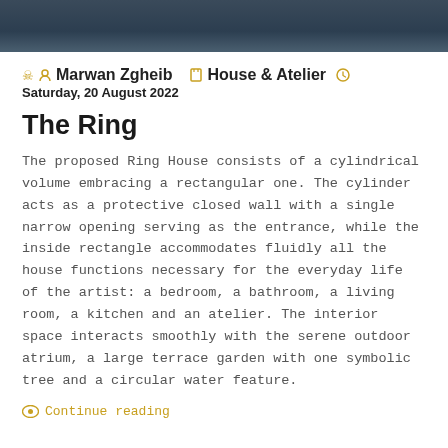[Figure (photo): Dark blue-grey header image, appears to be a photo with dark tones]
Marwan Zgheib   House & Atelier   Saturday, 20 August 2022
The Ring
The proposed Ring House consists of a cylindrical volume embracing a rectangular one. The cylinder acts as a protective closed wall with a single narrow opening serving as the entrance, while the inside rectangle accommodates fluidly all the house functions necessary for the everyday life of the artist: a bedroom, a bathroom, a living room, a kitchen and an atelier. The interior space interacts smoothly with the serene outdoor atrium, a large terrace garden with one symbolic tree and a circular water feature.
Continue reading